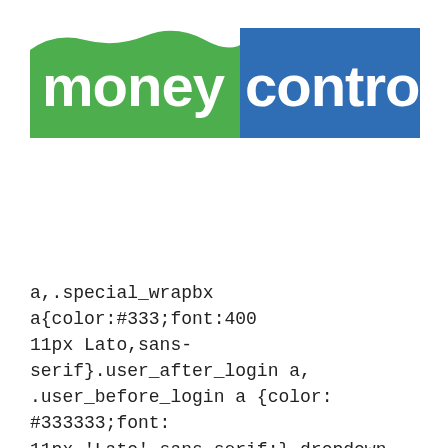[Figure (logo): Moneycontrol logo with green wavy left portion showing 'money' in white bold text and blue rectangular right portion showing 'control' in white bold text]
a,.special_wrapbx a{color:#333;font:400 11px Lato,sans-serif}.user_after_login a,.user_before_login a {color: #333333;font: 11px 'Lato',sans-serif;}.dropdown-menu{display:none;background-clip:border-box!important}.header_desktop .dropdown-